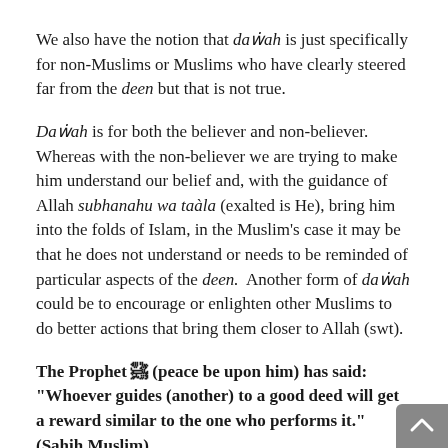We also have the notion that dawah is just specifically for non-Muslims or Muslims who have clearly steered far from the deen but that is not true.
Dawah is for both the believer and non-believer. Whereas with the non-believer we are trying to make him understand our belief and, with the guidance of Allah subhanahu wa taàla (exalted is He), bring him into the folds of Islam, in the Muslim's case it may be that he does not understand or needs to be reminded of particular aspects of the deen.  Another form of dawah could be to encourage or enlighten other Muslims to do better actions that bring them closer to Allah (swt).
The Prophet ﷺ (peace be upon him) has said: "Whoever guides (another) to a good deed will get a reward similar to the one who performs it." (Sahih Muslim)
Also, "By Allah, if Allah were to guide one man through you it would be better for you than the best type of